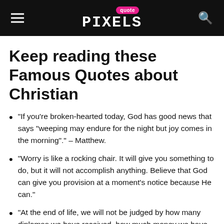Quote Pixels
Keep reading these Famous Quotes about Christian
“If you’re broken-hearted today, God has good news that says “weeping may endure for the night but joy comes in the morning”.” – Matthew.
“Worry is like a rocking chair. It will give you something to do, but it will not accomplish anything. Believe that God can give you provision at a moment’s notice because He can.”
“At the end of life, we will not be judged by how many diplomas we have received, how much money we have made, how many great things we have done.” – Mother